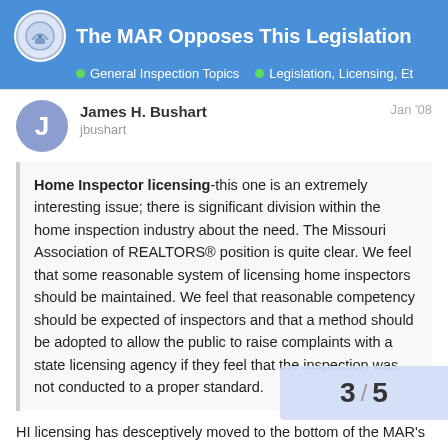The MAR Opposes This Legislation
General Inspection Topics · Legislation, Licensing, Et
James H. Bushart
jbushart
Jan '08
Home Inspector licensing-this one is an extremely interesting issue; there is significant division within the home inspection industry about the need. The Missouri Association of REALTORS® position is quite clear. We feel that some reasonable system of licensing home inspectors should be maintained. We feel that reasonable competency should be expected of inspectors and that a method should be adopted to allow the public to raise complaints with a state licensing agency if they feel that the inspection was not conducted to a proper standard.
HI licensing has desceptively moved to the bottom of the MAR's list of legislative priorities…but there is gol
*"(We feel) *ta method should be adopted